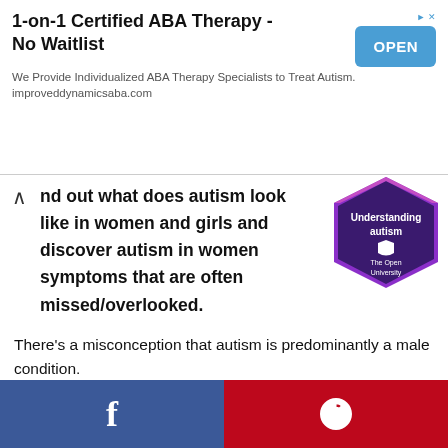[Figure (other): Advertisement banner: 1-on-1 Certified ABA Therapy - No Waitlist with OPEN button]
Find out what does autism look like in women and girls and discover autism in women symptoms that are often missed/overlooked.
[Figure (logo): Understanding autism badge from The Open University - purple hexagonal badge]
There's a misconception that autism is predominantly a male condition.
The classic pattern of behavior in autism can be clear in girls and women who were intellectually disabled.
[Figure (other): Social share footer bar with Facebook (blue) and Pinterest (red) icons]